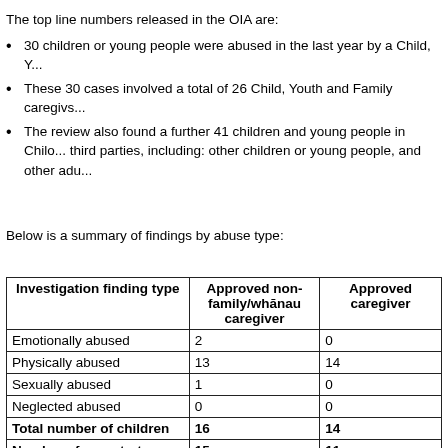The top line numbers released in the OIA are:
30 children or young people were abused in the last year by a Child, Y...
These 30 cases involved a total of 26 Child, Youth and Family caregivs...
The review also found a further 41 children and young people in Chilo... third parties, including: other children or young people, and other adu...
Below is a summary of findings by abuse type:
| Investigation finding type | Approved non-family/whānau caregiver | Approved caregiver |
| --- | --- | --- |
| Emotionally abused | 2 | 0 |
| Physically abused | 13 | 14 |
| Sexually abused | 1 | 0 |
| Neglected abused | 0 | 0 |
| Total number of children | 16 | 14 |
| Number of perpetrators | 15 | 11 |